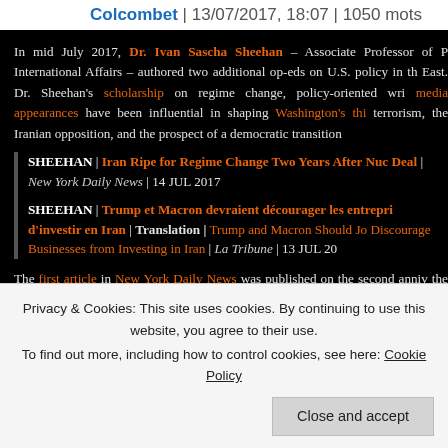Colcombet | 13/07/2017, 18:07 | 1050 mots
In mid July 2017, Dr. Ivan Sascha Sheehan – Associate Professor of P International Affairs – authored two additional op-eds on U.S. policy in th East. Dr. Sheehan's scholarship on regime change, policy-oriented wri media appearances have been influential in shaping Washington's thi terrorism, the Iranian opposition, and the prospect of a democratic transition
SHEEHAN | Iran Ripe for Regime Change Two Years After Nuc Deal | New York Daily News | 14 JUL 2017
SHEEHAN | Trump et Macron devraient décourager les entrepri d'investir en Iran | Translation | Trump and Macron Should Jo Discourage Businesses from Investing in Iran | La Tribune | 13 JUL 20
The first article in New York Daily News was published on the second anniv the conclusion of negotiations that resulted in the Joint Comprehensive Action with Iran (JCPOA) and proposes a formal shift in U.S. policy consi American national security interests and Department of State rhetoric
Privacy & Cookies: This site uses cookies. By continuing to use this website, you agree to their use.
To find out more, including how to control cookies, see here: Cookie Policy
Close and accept